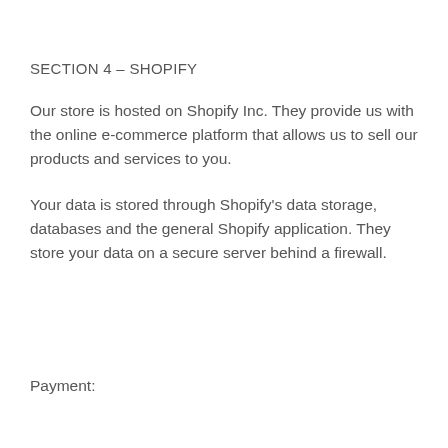SECTION 4 – SHOPIFY
Our store is hosted on Shopify Inc. They provide us with the online e-commerce platform that allows us to sell our products and services to you.
Your data is stored through Shopify's data storage, databases and the general Shopify application. They store your data on a secure server behind a firewall.
Payment: